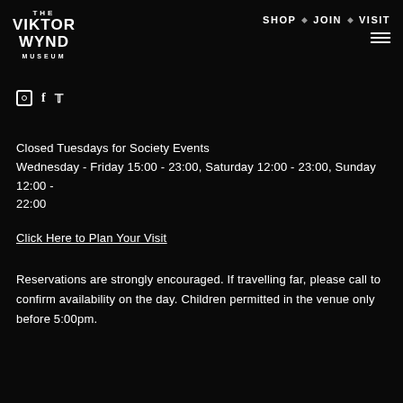[Figure (logo): The Viktor Wynd Museum logo in white text on black background]
SHOP ◇ JOIN ◇ VISIT
[Figure (infographic): Social media icons: Instagram, Facebook, Twitter]
Closed Tuesdays for Society Events
Wednesday - Friday 15:00 - 23:00, Saturday 12:00 - 23:00, Sunday 12:00 - 22:00
Click Here to Plan Your Visit
Reservations are strongly encouraged. If travelling far, please call to confirm availability on the day. Children permitted in the venue only before 5:00pm.